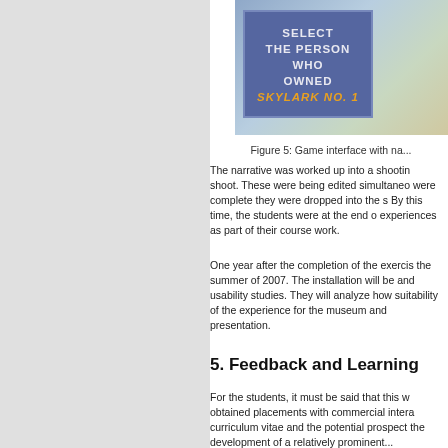[Figure (screenshot): Game interface screenshot showing a blue panel with text 'SELECT THE PERSON WHO OWNED SKYLARK NO. 1' in white and gold text, set against a nature background]
Figure 5: Game interface with na...
The narrative was worked up into a shootin... shoot. These were being edited simultaneo... were complete they were dropped into the s... By this time, the students were at the end o... experiences as part of their course work.
One year after the completion of the exercis... the summer of 2007. The installation will be... and usability studies. They will analyze how... suitability of the experience for the museum... and presentation.
5. Feedback and Learning
For the students, it must be said that this w... obtained placements with commercial intera... curriculum vitae and the potential prospect... the development of a relatively prominent...